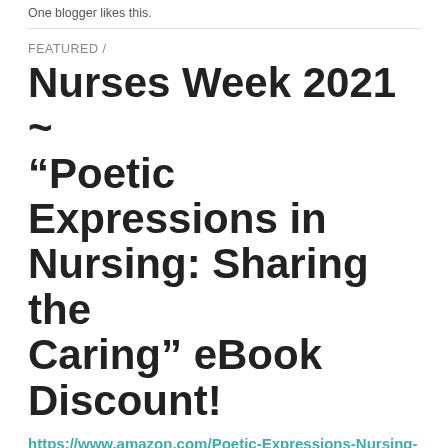One blogger likes this.
FEATURED /
Nurses Week 2021 ~ “Poetic Expressions in Nursing: Sharing the Caring” eBook Discount!
https://www.amazon.com/Poetic-Expressions-Nursing-Sharing-Caring-ebook/dp/B091D2GXNN
Happy Nurses Week 2021 to Nurses: past, present, future and those who support them! "When it's all said and done, there's no profession as diverse, as the art